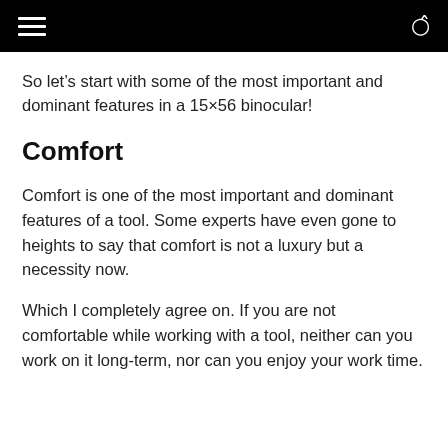[hamburger menu] [search icon]
So let’s start with some of the most important and dominant features in a 15×56 binocular!
Comfort
Comfort is one of the most important and dominant features of a tool. Some experts have even gone to heights to say that comfort is not a luxury but a necessity now.
Which I completely agree on. If you are not comfortable while working with a tool, neither can you work on it long-term, nor can you enjoy your work time.